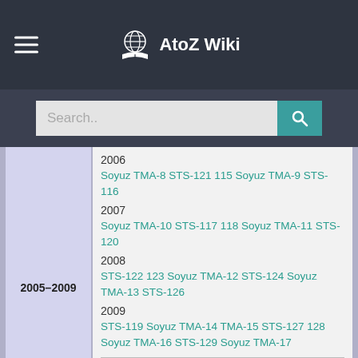AtoZ Wiki
Search..
| Period | Year | Missions |
| --- | --- | --- |
| 2005–2009 | 2006 | Soyuz TMA-8 STS-121 115 Soyuz TMA-9 STS-116 |
| 2005–2009 | 2007 | Soyuz TMA-10 STS-117 118 Soyuz TMA-11 STS-120 |
| 2005–2009 | 2008 | STS-122 123 Soyuz TMA-12 STS-124 Soyuz TMA-13 STS-126 |
| 2005–2009 | 2009 | STS-119 Soyuz TMA-14 TMA-15 STS-127 128 Soyuz TMA-16 STS-129 Soyuz TMA-17 |
|  | 2010 |  |